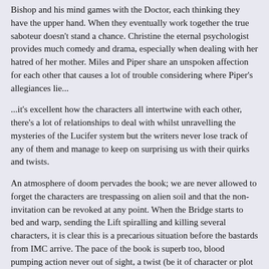Bishop and his mind games with the Doctor, each thinking they have the upper hand. When they eventually work together the true saboteur doesn't stand a chance. Christine the eternal psychologist provides much comedy and drama, especially when dealing with her hatred of her mother. Miles and Piper share an unspoken affection for each other that causes a lot of trouble considering where Piper's allegiances lie...
...it's excellent how the characters all intertwine with each other, there's a lot of relationships to deal with whilst unravelling the mysteries of the Lucifer system but the writers never lose track of any of them and manage to keep on surprising us with their quirks and twists.
An atmosphere of doom pervades the book; we are never allowed to forget the characters are trespassing on alien soil and that the non-invitation can be revoked at any point. When the Bridge starts to bed and warp, sending the Lift spiralling and killing several characters, it is clear this is a precarious situation before the bastards from IMC arrive. The pace of the book is superb too, blood pumping action never out of sight, a twist (be it of character or plot or both!) fulfilling its obligatory appearance every twenty pages or so and all the plot threads building in tension towards the emotionally charged climax.